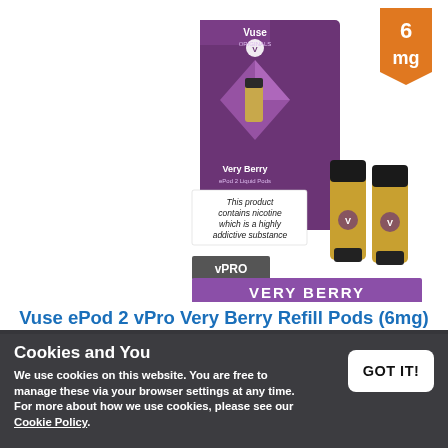[Figure (photo): Vuse ePod 2 vPro Very Berry Refill Pods product image showing purple box with two gold/black pods, 6mg nicotine badge in orange, and nicotine warning label. Purple banner at bottom reads VERY BERRY with vPRO label.]
Vuse ePod 2 vPro Very Berry Refill Pods (6mg)
£6.49 - £134.99
Cookies and You
We use cookies on this website. You are free to manage these via your browser settings at any time. For more about how we use cookies, please see our Cookie Policy.
GOT IT!
Refill pods compatible with Vuse ePod 2 device
Pack of two pods in the flavour Very